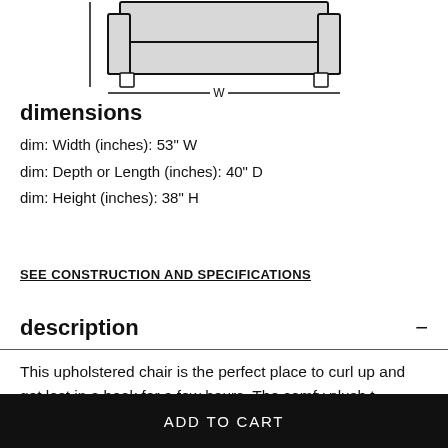[Figure (engineering-diagram): Front-view line drawing of an upholstered chair showing seat, back, arms, and legs. A horizontal line below indicates the width dimension labeled 'W'.]
dimensions
dim: Width (inches): 53" W
dim: Depth or Length (inches): 40" D
dim: Height (inches): 38" H
SEE CONSTRUCTION AND SPECIFICATIONS
description
This upholstered chair is the perfect place to curl up and get lost in a book for a few hours. The comfy plush t-
ADD TO CART